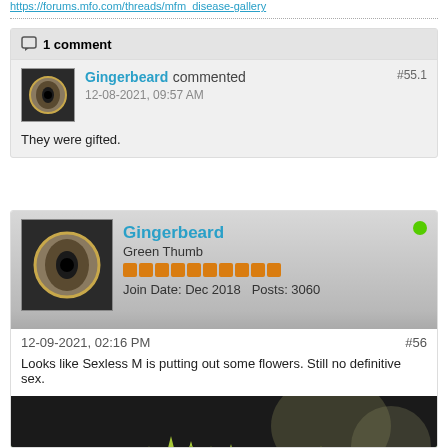https://forums.mfo.com/threads/mfm_disease-gallery
1 comment
Gingerbeard commented #55.1
12-08-2021, 09:57 AM
They were gifted.
Gingerbeard
Green Thumb
Join Date: Dec 2018   Posts: 3060
12-09-2021, 02:16 PM   #56
Looks like Sexless M is putting out some flowers. Still no definitive sex.
[Figure (photo): Close-up photo of green cannabis plant with small flowers, dark background]